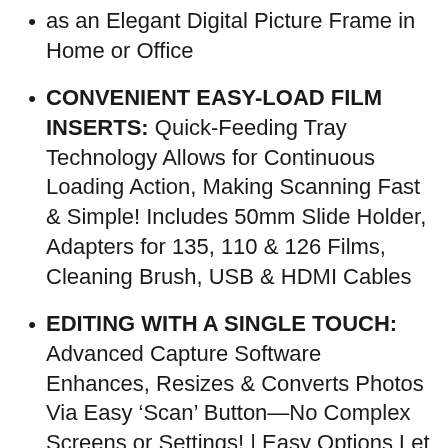as an Elegant Digital Picture Frame in Home or Office
CONVENIENT EASY-LOAD FILM INSERTS: Quick-Feeding Tray Technology Allows for Continuous Loading Action, Making Scanning Fast & Simple! Includes 50mm Slide Holder, Adapters for 135, 110 & 126 Films, Cleaning Brush, USB & HDMI Cables
EDITING WITH A SINGLE TOUCH: Advanced Capture Software Enhances, Resizes & Converts Photos Via Easy ‘Scan’ Button—No Complex Screens or Settings! | Easy Options Let You Choose Film Type, Adjust Color/Brightness & Assign Date/Time
SUPER CHIC, UBER COMPATIBLE: